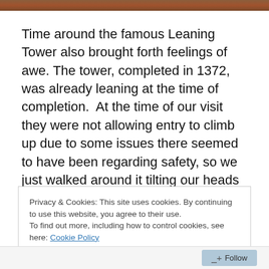[Figure (photo): A partial photo strip at the top of the page showing a brownish/reddish surface, likely a stone or brick structure.]
Time around the famous Leaning Tower also brought forth feelings of awe. The tower, completed in 1372, was already leaning at the time of completion.  At the time of our visit they were not allowing entry to climb up due to some issues there seemed to have been regarding safety, so we just walked around it tilting our heads this way and
Privacy & Cookies: This site uses cookies. By continuing to use this website, you agree to their use.
To find out more, including how to control cookies, see here: Cookie Policy
Close and accept